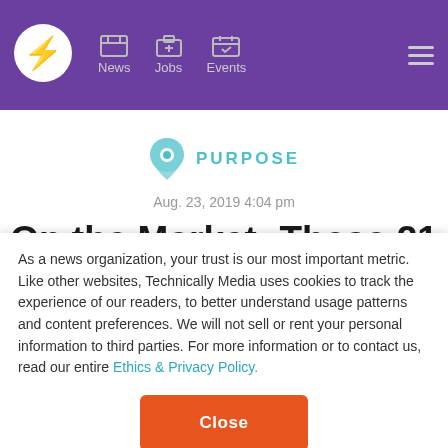Navigation bar with logo, News, Jobs, Events, and hamburger menu
[Figure (logo): Circular logo with lightning bolt, white on purple circle]
PURPOSE
Aug. 23, 2019 4:04 pm
On the Market: These 21 opportunities run the gamut
As a news organization, your trust is our most important metric. Like other websites, Technically Media uses cookies to track the experience of our readers, to better understand usage patterns and content preferences. We will not sell or rent your personal information to third parties. For more information or to contact us, read our entire Ethics & Privacy Policy.